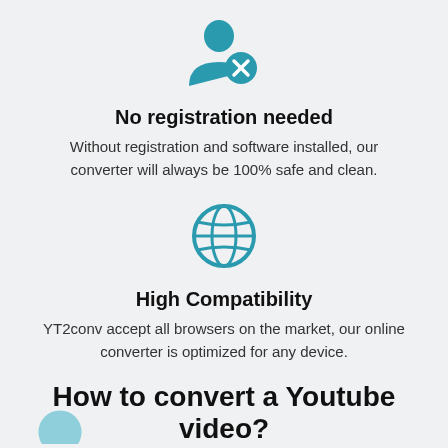[Figure (illustration): Teal icon of a person silhouette with an X mark (no registration icon)]
No registration needed
Without registration and software installed, our converter will always be 100% safe and clean.
[Figure (illustration): Teal globe/world icon representing high compatibility]
High Compatibility
YT2conv accept all browsers on the market, our online converter is optimized for any device.
How to convert a Youtube video?
[Figure (illustration): Partial teal circle icon at bottom left (step indicator)]